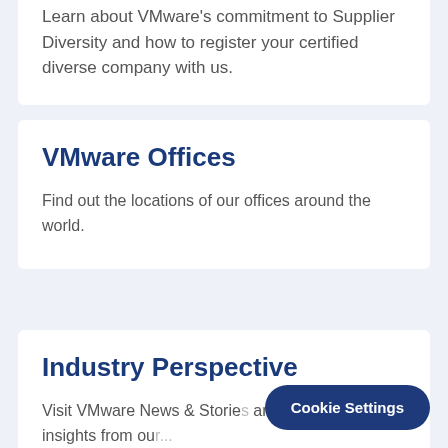Learn about VMware's commitment to Supplier Diversity and how to register your certified diverse company with us.
VMware Offices
Find out the locations of our offices around the world.
Industry Perspective
Visit VMware News & Stories and business insights from our...